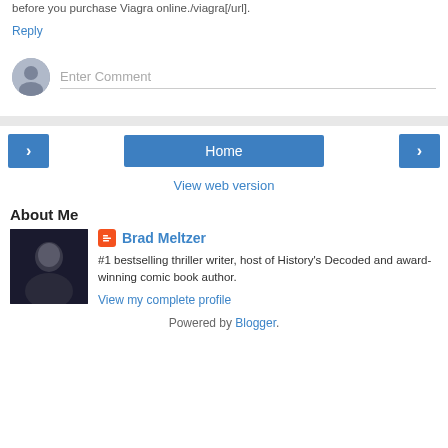before you purchase Viagra online./viagra[/url].
Reply
Enter Comment
Home
View web version
About Me
Brad Meltzer
#1 bestselling thriller writer, host of History's Decoded and award-winning comic book author.
View my complete profile
Powered by Blogger.